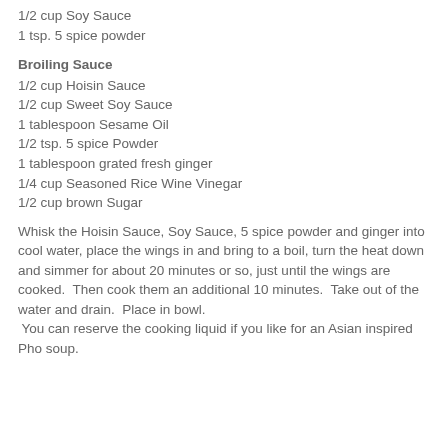1/2 cup Soy Sauce
1 tsp. 5 spice powder
Broiling Sauce
1/2 cup Hoisin Sauce
1/2 cup Sweet Soy Sauce
1 tablespoon Sesame Oil
1/2 tsp. 5 spice Powder
1 tablespoon grated fresh ginger
1/4 cup Seasoned Rice Wine Vinegar
1/2 cup brown Sugar
Whisk the Hoisin Sauce, Soy Sauce, 5 spice powder and ginger into cool water, place the wings in and bring to a boil, turn the heat down and simmer for about 20 minutes or so, just until the wings are cooked.  Then cook them an additional 10 minutes.  Take out of the water and drain.  Place in bowl.
 You can reserve the cooking liquid if you like for an Asian inspired Pho soup.